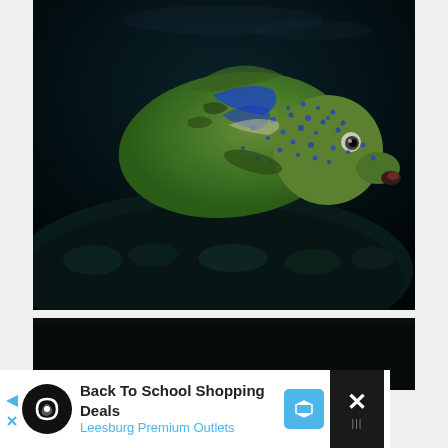[Figure (photo): Close-up underwater photograph of a large tropical fish (appears to be a Napoleon wrasse or similar species) with greenish-blue spotted scales and distinctive blue markings, swimming near dark coral reef or rock. The fish faces right and has a prominent eye visible.]
[Figure (photo): Second underwater photo, mostly dark/black, likely showing the bottom of a reef scene.]
Back To School Shopping Deals
Leesburg Premium Outlets